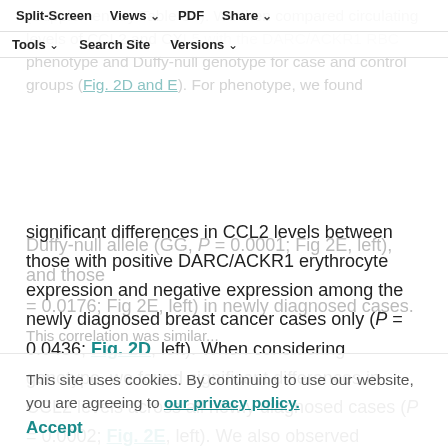(Supplementary Table S4). We then compared circulating levels of CCL2 and CXCL5 with the DARC/ACKR1 RBC phenotype and Duffy-null genotype for case and control groups (Fig. 2D and E).
Split-Screen | Views | PDF | Share | Tools | Search Site | Versions
significant differences in CCL2 levels between those with positive DARC/ACKR1 erythrocyte expression and negative expression among the newly diagnosed breast cancer cases only (P = 0.0436; Fig. 2D, left). When considering genotype, we found significant differences in CCL2 levels across all newly diagnosed cases (P = 0.0002; Fig. 2E, left). We also observed individual associations between those that are homozygous for the reference allele (AA) and homozygous for the alternate
Duffy-null allele (GG, P = 0.0001; Fig. 2E, left), and those who were heterozygous ... Duffy-null
This site uses cookies. By continuing to use our website, you are agreeing to our privacy policy.
Accept
= 0.0176; Fig 2E, left) in newly diagnosed cases. This correlation was similar...